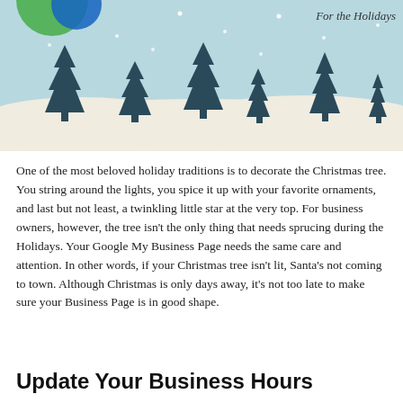[Figure (illustration): Holiday winter scene illustration with dark teal pine trees on snowy hills with a light blue sky, white snowflakes, and 'For the Holidays' text in the top right corner. A partial green and blue circular logo is visible in the top left.]
One of the most beloved holiday traditions is to decorate the Christmas tree. You string around the lights, you spice it up with your favorite ornaments, and last but not least, a twinkling little star at the very top. For business owners, however, the tree isn't the only thing that needs sprucing during the Holidays. Your Google My Business Page needs the same care and attention. In other words, if your Christmas tree isn't lit, Santa's not coming to town. Although Christmas is only days away, it's not too late to make sure your Business Page is in good shape.
Update Your Business Hours